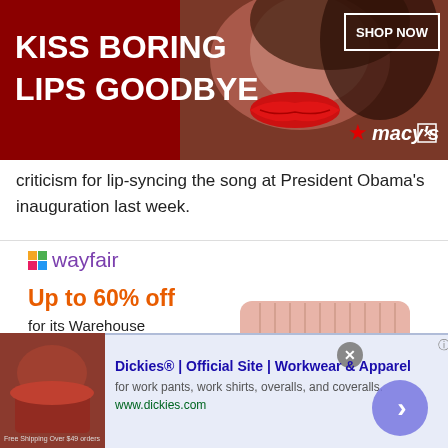[Figure (illustration): Macy's advertisement banner: dark red background with woman's face/lips, text 'KISS BORING LIPS GOODBYE', 'SHOP NOW' button, Macy's star logo]
criticism for lip-syncing the song at President Obama's inauguration last week.
[Figure (illustration): Wayfair advertisement: logo, 'Up to 60% off for its Warehouse Clearout event', 'Must-haves for College Move-In', pink upholstered bench stool, purple 'Shop now' button]
[Figure (illustration): Dickies bottom advertisement: leather chair thumbnail, 'Dickies® | Official Site | Workwear & Apparel', 'for work pants, work shirts, overalls, and coveralls.', www.dickies.com, blue arrow button]